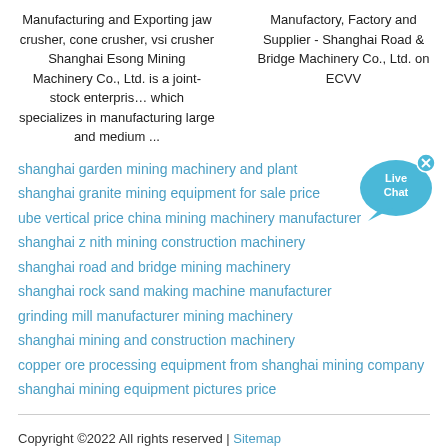Manufacturing and Exporting jaw crusher, cone crusher, vsi crusher Shanghai Esong Mining Machinery Co., Ltd. is a joint-stock enterpris… which specializes in manufacturing large and medium ...
Manufactory, Factory and Supplier - Shanghai Road & Bridge Machinery Co., Ltd. on ECVV
shanghai garden mining machinery and plant
shanghai granite mining equipment for sale price
ube vertical price china mining machinery manufacturer
shanghai z nith mining construction machinery
shanghai road and bridge mining machinery
shanghai rock sand making machine manufacturer
grinding mill manufacturer mining machinery
shanghai mining and construction machinery
copper ore processing equipment from shanghai mining company
shanghai mining equipment pictures price
[Figure (illustration): Live Chat button - blue speech bubble with 'Live Chat' text and an X close button]
Copyright ©2022 All rights reserved | Sitemap
Jaw crusher / Cone crusher / Contact Us